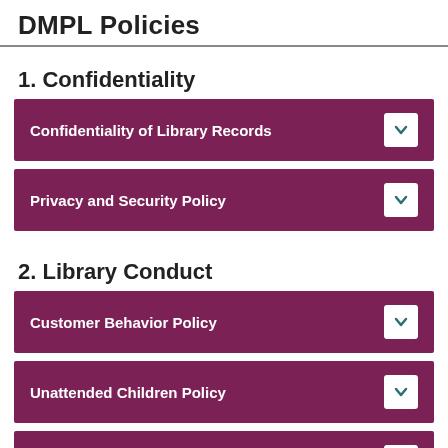DMPL Policies
1. Confidentiality
Confidentiality of Library Records
Privacy and Security Policy
2. Library Conduct
Customer Behavior Policy
Unattended Children Policy
Internet Use Policy